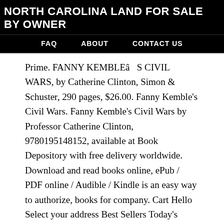NORTH CAROLINA LAND FOR SALE BY OWNER
FAQ   ABOUT   CONTACT US
Prime. FANNY KEMBLEâS CIVIL WARS, by Catherine Clinton, Simon & Schuster, 290 pages, $26.00. Fanny Kemble's Civil Wars. Fanny Kemble's Civil Wars by Professor Catherine Clinton, 9780195148152, available at Book Depository with free delivery worldwide. Download and read books online, ePub / PDF online / Audible / Kindle is an easy way to authorize, books for company. Cart Hello Select your address Best Sellers Today's Deals New Releases Electronics Books Customer Service Gift Ideas Home Computers Gift Cards